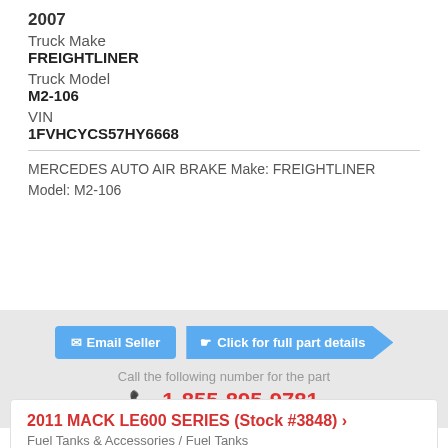2007
Truck Make
FREIGHTLINER
Truck Model
M2-106
VIN
1FVHCYCS57HY6668
MERCEDES AUTO AIR BRAKE Make: FREIGHTLINER Model: M2-106
Email Seller
Click for full part details
Call the following number for the part
1-855-895-9781
2011 MACK LE600 SERIES (Stock #3848)
Fuel Tanks & Accessories / Fuel Tanks
Approx 6.71 miles from Largo, Florida